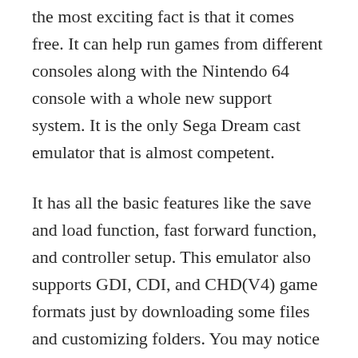the most exciting fact is that it comes free. It can help run games from different consoles along with the Nintendo 64 console with a whole new support system. It is the only Sega Dream cast emulator that is almost competent.
It has all the basic features like the save and load function, fast forward function, and controller setup. This emulator also supports GDI, CDI, and CHD(V4) game formats just by downloading some files and customizing folders. You may notice some lags and issues while playing games or installing but it is a good choice as it is a free emulator.